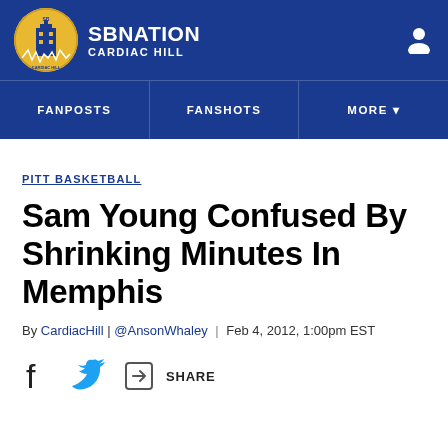SB NATION | CARDIAC HILL
FANPOSTS | FANSHOTS | MORE
PITT BASKETBALL
Sam Young Confused By Shrinking Minutes In Memphis
By CardiacHill | @AnsonWhaley | Feb 4, 2012, 1:00pm EST
SHARE